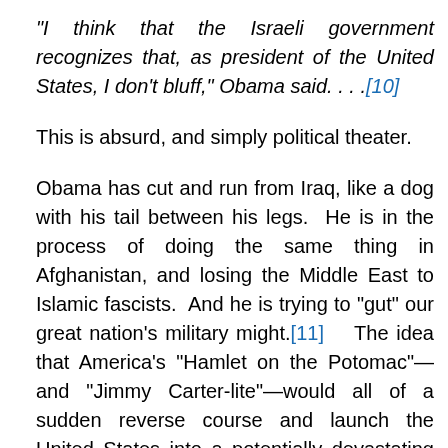“I think that the Israeli government recognizes that, as president of the United States, I don’t bluff,” Obama said. . . .[10]
This is absurd, and simply political theater.
Obama has cut and run from Iraq, like a dog with his tail between his legs.  He is in the process of doing the same thing in Afghanistan, and losing the Middle East to Islamic fascists.  And he is trying to “gut” our great nation’s military might.[11]   The idea that America’s “Hamlet on the Potomac”—and “Jimmy Carter-lite”—would all of a sudden reverse course and launch the United States into a potentially devastating war with Iran and the Islamic world is nonsensical.
Having a political statement...